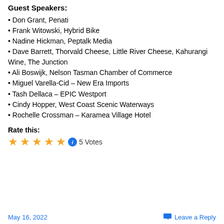Guest Speakers:
Don Grant, Penati
Frank Witowski, Hybrid Bike
Nadine Hickman, Peptalk Media
Dave Barrett, Thorvald Cheese, Little River Cheese, Kahurangi Wine, The Junction
Ali Boswijk, Nelson Tasman Chamber of Commerce
Miguel Varella-Cid – New Era Imports
Tash Dellaca – EPIC Westport
Cindy Hopper, West Coast Scenic Waterways
Rochelle Crossman – Karamea Village Hotel
Rate this:
5 Votes
May 16, 2022   Leave a Reply